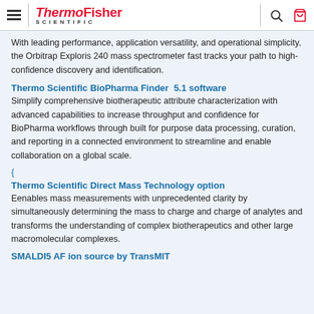ThermoFisher SCIENTIFIC
With leading performance, application versatility, and operational simplicity, the Orbitrap Exploris 240 mass spectrometer fast tracks your path to high-confidence discovery and identification.
Thermo Scientific BioPharma Finder  5.1 software
Simplify comprehensive biotherapeutic attribute characterization with advanced capabilities to increase throughput and confidence for BioPharma workflows through built for purpose data processing, curation, and reporting in a connected environment to streamline and enable collaboration on a global scale.
Thermo Scientific Direct Mass Technology option
Eenables mass measurements with unprecedented clarity by simultaneously determining the mass to charge and charge of analytes and transforms the understanding of complex biotherapeutics and other large macromolecular complexes.
SMALDI5 AF ion source by TransMIT